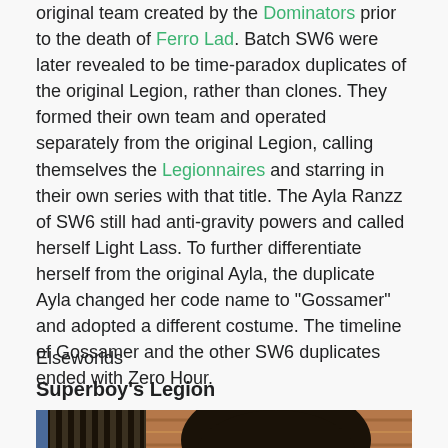original team created by the Dominators prior to the death of Ferro Lad. Batch SW6 were later revealed to be time-paradox duplicates of the original Legion, rather than clones. They formed their own team and operated separately from the original Legion, calling themselves the Legionnaires and starring in their own series with that title. The Ayla Ranzz of SW6 still had anti-gravity powers and called herself Light Lass. To further differentiate herself from the original Ayla, the duplicate Ayla changed her code name to "Gossamer" and adopted a different costume. The timeline of Gossamer and the other SW6 duplicates ended with Zero Hour.
Elseworlds
Superboy's Legion
[Figure (illustration): Comic book illustration showing a close-up of a character's face with yellow/cream skin, wearing a dark helmet or mask, against a brown/wood-grain textured background.]